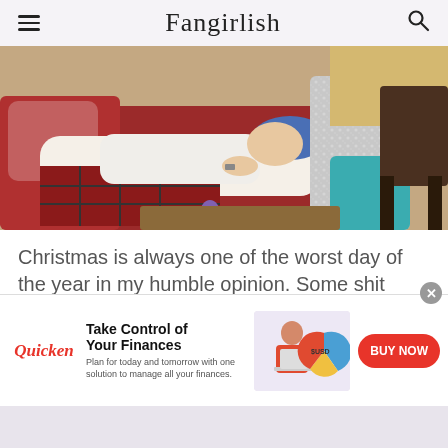Fangirlish
[Figure (photo): A person with a blue knit hat lying on a red velvet sofa wearing a white top and red plaid pants, looking up, while another person in a glittery silver outfit reaches toward them. Purple flowers visible in foreground.]
Christmas is always one of the worst day of the year in my humble opinion. Some shit always happens. Something always gets ruined.
[Figure (infographic): Quicken advertisement: 'Take Control of Your Finances' with tagline 'Plan for today and tomorrow with one solution to manage all your finances.' Shows a woman working on a laptop with financial charts. BUY NOW button in red.]